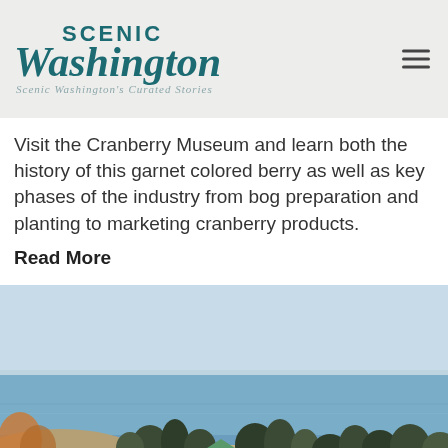SCENIC Washington
Visit the Cranberry Museum and learn both the history of this garnet colored berry as well as key phases of the industry from bog preparation and planting to marketing cranberry products.
Read More
[Figure (photo): Coastal landscape photo showing a calm blue ocean with a pale sky horizon, trees and shrubs in the foreground, and a small green-roofed structure visible among the vegetation.]